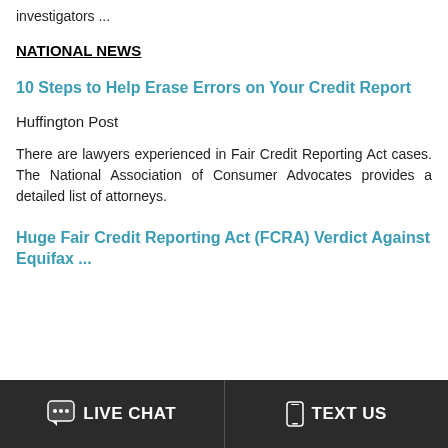investigators ...
NATIONAL NEWS
10 Steps to Help Erase Errors on Your Credit Report
Huffington Post
There are lawyers experienced in Fair Credit Reporting Act cases. The National Association of Consumer Advocates provides a detailed list of attorneys.
Huge Fair Credit Reporting Act (FCRA) Verdict Against Equifax ...
LIVE CHAT   TEXT US